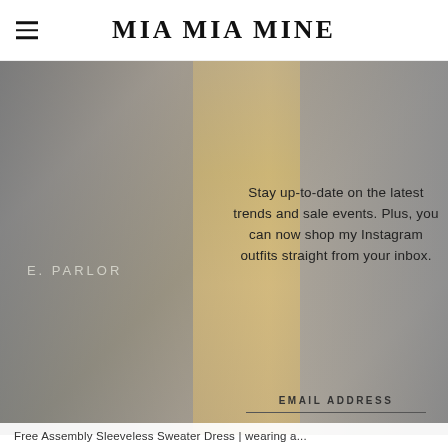MIA MIA MINE
[Figure (photo): Fashion blogger photo: woman in yellow sleeveless dress on a city street with brick/glass storefronts including a parlor sign, holding a woven bag]
Stay up-to-date on the latest trends and sale events. Plus, you can now shop my Instagram outfits straight from your inbox.
EMAIL ADDRESS
Free Assembly Sleeveless Sweater Dress | wearing a...